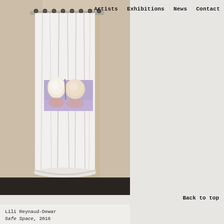Artists   Exhibitions   News   Contact
[Figure (photo): A white curtain hanging from a rod with metal rings, displaying a printed image of two teeth on a lavender/purple background in the middle of the curtain. The curtain hangs in a gallery-like beige room with a dark floor.]
Back to top
Lili Reynaud-Dewar
Safe Space, 2016